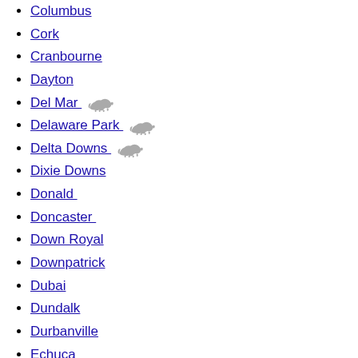Columbus
Cork
Cranbourne
Dayton
Del Mar [horse icon]
Delaware Park [horse icon]
Delta Downs [horse icon]
Dixie Downs
Donald
Doncaster
Down Royal
Downpatrick
Dubai
Dundalk
Durbanville
Echuca
Elko
Ellis Park [horse icon]
Emerald Downs [horse icon]
Emmett
Epsom
Evangeline Downs [horse icon]
Exeter
Fair Grounds